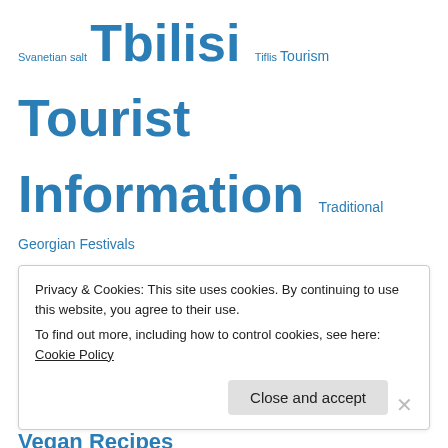Svanetian salt Tbilisi Tiflis Tourism Tourist Information Traditional Georgian Festivals Traditional Georgian Recipes Traditional Georgian Wine-Making Travel Tusheti Vegan Recipes Vegetarian Recipes Walnut Dishes Wine აჯიქა ბათუმი ლობიო ნიკო ფიროსმანი სვანური მარილი ქართული სამზარეულო საქაპური
Privacy & Cookies: This site uses cookies. By continuing to use this website, you agree to their use. To find out more, including how to control cookies, see here: Cookie Policy
Close and accept